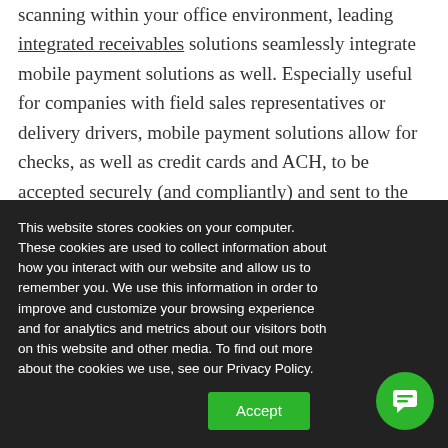scanning within your office environment, leading integrated receivables solutions seamlessly integrate mobile payment solutions as well. Especially useful for companies with field sales representatives or delivery drivers, mobile payment solutions allow for checks, as well as credit cards and ACH, to be accepted securely (and compliantly) and sent to the home office in real-time for review, approval, processing, and posting.

Whether you use a partner's stand-alone mobile
This website stores cookies on your computer. These cookies are used to collect information about how you interact with our website and allow us to remember you. We use this information in order to improve and customize your browsing experience and for analytics and metrics about our visitors both on this website and other media. To find out more about the cookies we use, see our Privacy Policy.